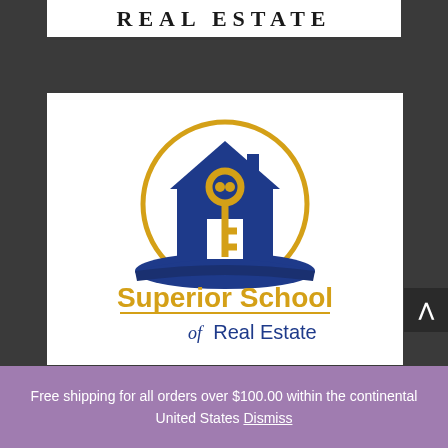[Figure (logo): REAL ESTATE text logo in bold serif letters on white background]
[Figure (logo): Superior School of Real Estate logo: blue house with open book and gold key inside gold circle, with text 'Superior School of Real Estate']
Free shipping for all orders over $100.00 within the continental United States Dismiss